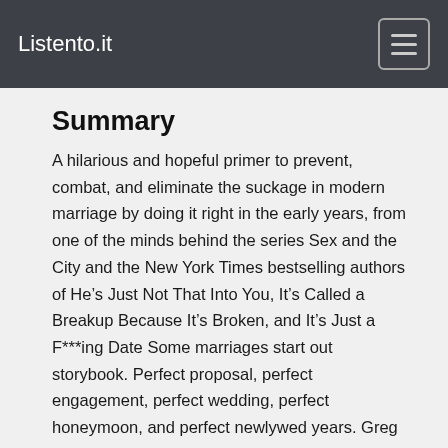Listento.it
Summary
A hilarious and hopeful primer to prevent, combat, and eliminate the suckage in modern marriage by doing it right in the early years, from one of the minds behind the series Sex and the City and the New York Times bestselling authors of He’s Just Not That Into You, It’s Called a Breakup Because It’s Broken, and It’s Just a F***ing Date Some marriages start out storybook. Perfect proposal, perfect engagement, perfect wedding, perfect honeymoon, and perfect newlywed years. Greg Behrendt and Amiira Ruotola stumbled right out of the wedding gate. Their choices in the early years, they’ll tell you, nearly bought their marriage a one-way ticket to Suckville. The New York Times bestselling authors explore all the adventures of early wedlock, from the moment one of you gets on one knee to the day when sex starts to feel like work instead of play. In this guidebook, Behrendt and